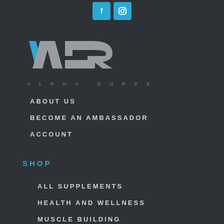[Figure (logo): Two social media icon buttons (Facebook and Instagram) in blue square buttons at the top center]
[Figure (logo): Alpha Supps logo: stylized AS letters in silver/gray with a blue accent mark, with ALPHA SUPPS text below]
ABOUT US
BECOME AN AMBASSADOR
ACCOUNT
SHOP
ALL SUPPLEMENTS
HEALTH AND WELLNESS
MUSCLE BUILDING
WEIGHT LOSS
PERFORMANCE